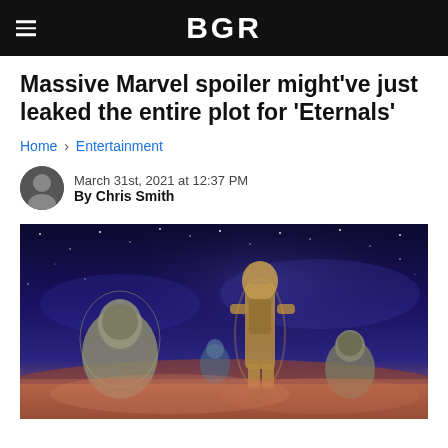BGR
Massive Marvel spoiler might've just leaked the entire plot for 'Eternals'
Home › Entertainment
March 31st, 2021 at 12:37 PM
By Chris Smith
[Figure (photo): Concept art showing large golden/metallic humanoid figures standing in a cosmic landscape with stars and clouds in the background]